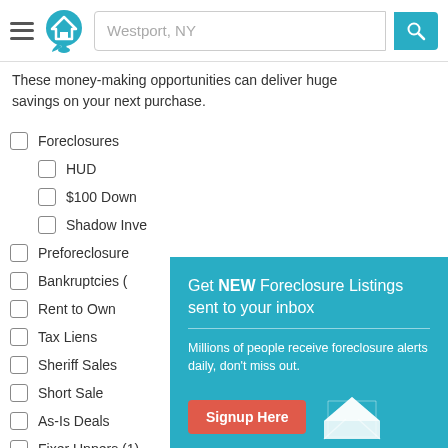[Figure (screenshot): Website header with hamburger menu, home logo, search bar with 'Westport, NY' placeholder, and teal search button]
These money-making opportunities can deliver huge savings on your next purchase.
Foreclosures
HUD
$100 Down
Shadow Inve...
Preforeclosure...
Bankruptcies (...)
Rent to Own
Tax Liens
Sheriff Sales
Short Sale
As-Is Deals
Fixer Uppers (1)
City Owned
[Figure (screenshot): Popup modal with teal background: 'Get NEW Foreclosure Listings sent to your inbox', description text, Signup Here red button, envelope icon, and 'No Thanks | Remind Me Later' link]